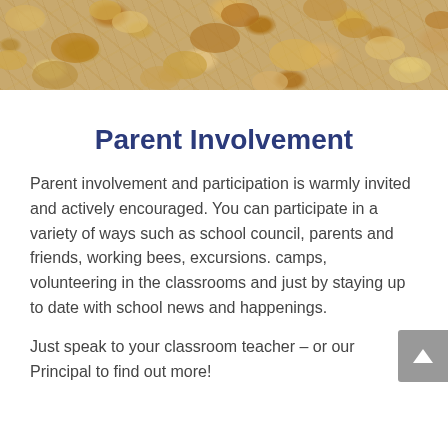[Figure (photo): Cork board texture banner image at the top of the page]
Parent Involvement
Parent involvement and participation is warmly invited and actively encouraged. You can participate in a variety of ways such as school council, parents and friends, working bees, excursions. camps, volunteering in the classrooms and just by staying up to date with school news and happenings.
Just speak to your classroom teacher – or our Principal to find out more!